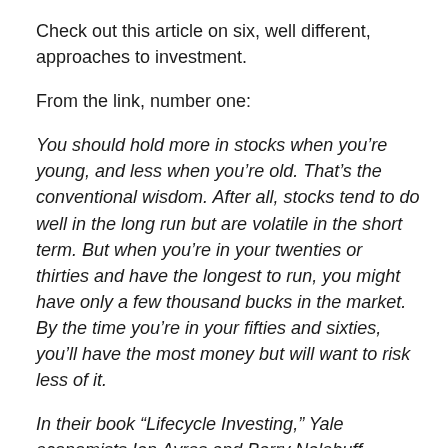Check out this article on six, well different, approaches to investment.
From the link, number one:
You should hold more in stocks when you’re young, and less when you’re old. That’s the conventional wisdom. After all, stocks tend to do well in the long run but are volatile in the short term. But when you’re in your twenties or thirties and have the longest to run, you might have only a few thousand bucks in the market. By the time you’re in your fifties and sixties, you’ll have the most money but will want to risk less of it.
In their book “Lifecycle Investing,” Yale economists Ian Ayres and Barry Nalebuff propose an audacious solution: Increase your stock position with borrowed money when